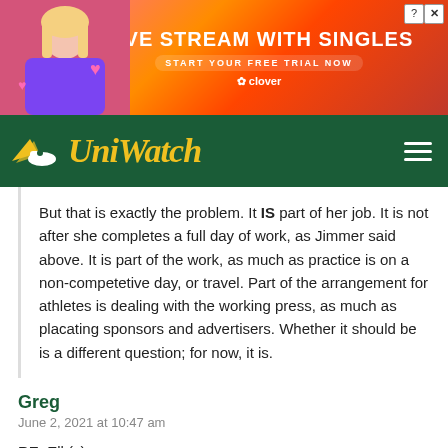[Figure (screenshot): Advertisement banner: LIVE STREAM WITH SINGLES, START YOUR FREE TRIAL NOW, clover branding, with woman photo]
[Figure (logo): Uni Watch logo with wings icon and yellow italic text on dark green navigation bar]
But that is exactly the problem. It IS part of her job. It is not after she completes a full day of work, as Jimmer said above. It is part of the work, as much as practice is on a non-competetive day, or travel. Part of the arrangement for athletes is dealing with the working press, as much as placating sponsors and advertisers. Whether it should be is a different question; for now, it is.
Greg
June 2, 2021 at 10:47 am
RE: Elk(s)
Something about the logo feels really old fashioned to me. Like it isn't over designed, has almost an Atlanta Hawks pac man logo feel to me for some reason. I really like it. But I also agree t... ould use mo - ... nal design of the antlers work on the logo, but not on the helmet
[Figure (screenshot): Bottom overlay advertisement: CHAT & LIVE STREAM, clover branding, with woman photo]